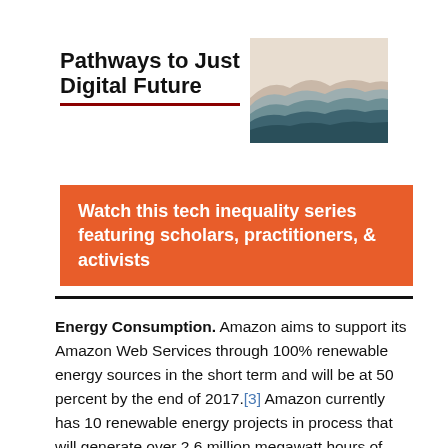Pathways to Just Digital Future
[Figure (illustration): Abstract layered mountain landscape illustration with muted beige, grey, and teal tones]
Watch this tech inequality series featuring scholars, practitioners, & activists
Energy Consumption. Amazon aims to support its Amazon Web Services through 100% renewable energy sources in the short term and will be at 50 percent by the end of 2017.[3] Amazon currently has 10 renewable energy projects in process that will generate over 2.6 million megawatt hours of energy annually when completed.[4]  Additionally, Amazon is currently utilizing recycled energy to